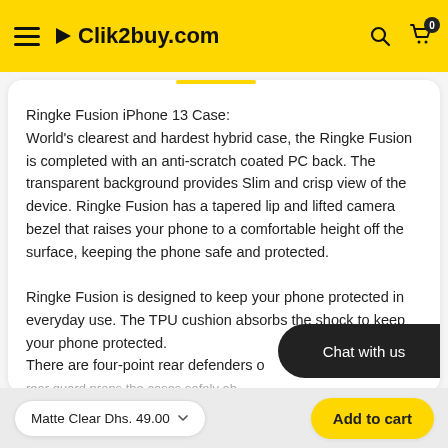Clik2buy.com
Ringke Fusion iPhone 13 Case:
World's clearest and hardest hybrid case, the Ringke Fusion is completed with an anti-scratch coated PC back. The transparent background provides Slim and crisp view of the device. Ringke Fusion has a tapered lip and lifted camera bezel that raises your phone to a comfortable height off the surface, keeping the phone safe and protected.

Ringke Fusion is designed to keep your phone protected in everyday use. The TPU cushion absorbs the shock to keep your phone protected.
There are four-point rear defenders o...
rear guard props the cases safely ab...
Matte Clear Dhs. 49.00
Add to cart